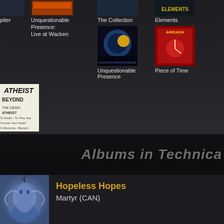[Figure (screenshot): Music album browser grid showing album covers and titles on dark background]
piter
Unquestionable Presence: Live at Wacken
The Collection
Elements
Unquestionable Presence
Piece of Time
Beyond
Albums in Technica
Hopeless Hopes
Martyr (CAN)